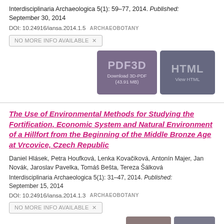Interdisciplinaria Archaeologica 5(1): 59–77, 2014. Published: September 30, 2014
DOI: 10.24916/iansa.2014.1.5   ARCHAEOBOTANY
NO MORE INFO AVAILABLE ×
[Figure (other): PDF3D Download button: Download 3D-PDF (43.91 MB)]
[Figure (other): HTML View HTML button]
The Use of Environmental Methods for Studying the Fortification, Economic System and Natural Environment of a Hillfort from the Beginning of the Middle Bronze Age at Vrcovice, Czech Republic
Daniel Hlásek, Petra Houfková, Lenka Kovačiková, Antonín Majer, Jan Novák, Jaroslav Pavelka, Tomáš Bešta, Tereza Šálková
Interdisciplinaria Archaeologica 5(1): 31–47, 2014. Published: September 15, 2014
DOI: 10.24916/iansa.2014.1.3   ARCHAEOBOTANY
NO MORE INFO AVAILABLE ×
[Figure (other): PDF3D button (partially visible at bottom)]
[Figure (other): HTML button (partially visible at bottom)]